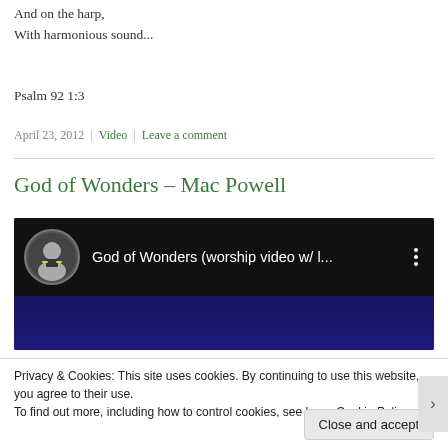And on the harp,
With harmonious sound...
Psalm 92 1:3
April 23, 2012 | Video | Leave a comment
God of Wonders – Mac Powell
[Figure (screenshot): YouTube video thumbnail showing 'God of Wonders (worship video w/ l...' with a circular avatar of a person in a suit, on a dark background]
Privacy & Cookies: This site uses cookies. By continuing to use this website, you agree to their use.
To find out more, including how to control cookies, see here: Cookie Policy